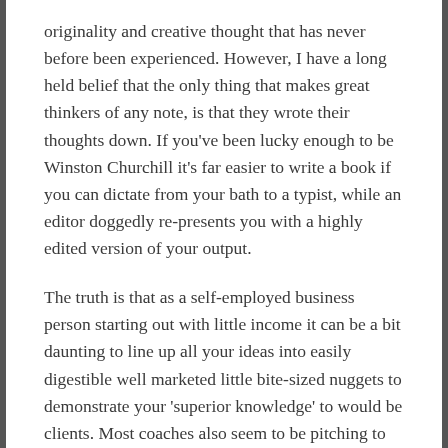originality and creative thought that has never before been experienced. However, I have a long held belief that the only thing that makes great thinkers of any note, is that they wrote their thoughts down. If you've been lucky enough to be Winston Churchill it's far easier to write a book if you can dictate from your bath to a typist, while an editor doggedly re-presents you with a highly edited version of your output.
The truth is that as a self-employed business person starting out with little income it can be a bit daunting to line up all your ideas into easily digestible well marketed little bite-sized nuggets to demonstrate your 'superior knowledge' to would be clients. Most coaches also seem to be pitching to would be coaches rather than offering genuine solutions to your average joe (not that anyone should be considered in any way average). That could just be my Facebook and Google algorithm though